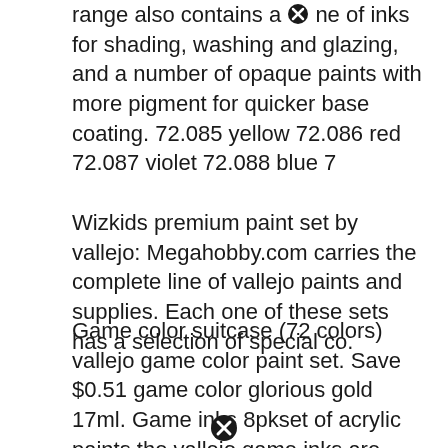range also contains a line of inks for shading, washing and glazing, and a number of opaque paints with more pigment for quicker base coating. 72.085 yellow 72.086 red 72.087 violet 72.088 blue 7
Wizkids premium paint set by vallejo: Megahobby.com carries the complete line of vallejo paints and supplies. Each one of these sets has a selection of special co.
Game color suitcase (72 colors) vallejo game color paint set. Save $0.51 game color glorious gold 17ml. Game inks 8pkset of acrylic paints the vallejo game inks are thinner, runnier & more translucent than game colour paints.